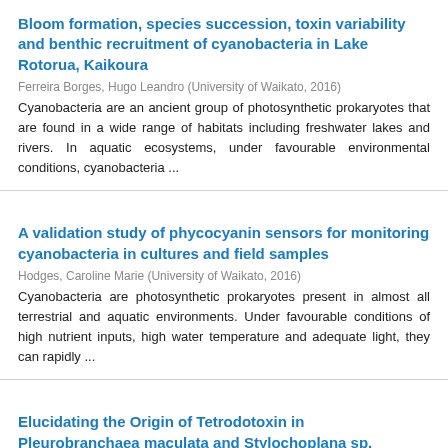Bloom formation, species succession, toxin variability and benthic recruitment of cyanobacteria in Lake Rotorua, Kaikoura
Ferreira Borges, Hugo Leandro (University of Waikato, 2016)
Cyanobacteria are an ancient group of photosynthetic prokaryotes that are found in a wide range of habitats including freshwater lakes and rivers. In aquatic ecosystems, under favourable environmental conditions, cyanobacteria ...
A validation study of phycocyanin sensors for monitoring cyanobacteria in cultures and field samples
Hodges, Caroline Marie (University of Waikato, 2016)
Cyanobacteria are photosynthetic prokaryotes present in almost all terrestrial and aquatic environments. Under favourable conditions of high nutrient inputs, high water temperature and adequate light, they can rapidly ...
Elucidating the Origin of Tetrodotoxin in Pleurobranchaea maculata and Stylochoplana sp.